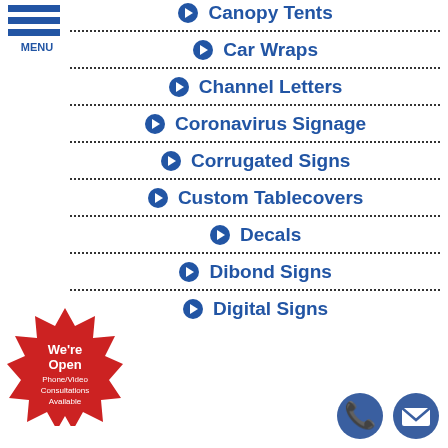[Figure (logo): Hamburger menu icon with three blue horizontal bars and MENU label below]
➔ Canopy Tents
➔ Car Wraps
➔ Channel Letters
➔ Coronavirus Signage
➔ Corrugated Signs
➔ Custom Tablecovers
➔ Decals
➔ Dibond Signs
➔ Digital Signs
[Figure (illustration): Red starburst badge with text: We're Open Phone/Video Consultations Available]
[Figure (illustration): Blue circle phone icon and blue circle email/envelope icon]